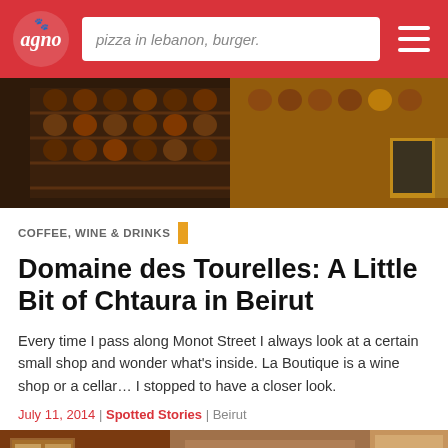pizza in lebanon, burger.
[Figure (photo): Interior of a wine shop showing wine racks filled with bottles, warm lighting]
COFFEE, WINE & DRINKS
Domaine des Tourelles: A Little Bit of Chtaura in Beirut
Every time I pass along Monot Street I always look at a certain small shop and wonder what's inside. La Boutique is a wine shop or a cellar... I stopped to have a closer look.
July 11, 2014 | Spotted Stories | Beirut
[Figure (photo): Interior of a shop with shelving, display cases, items on wall, with a green chat button overlay]